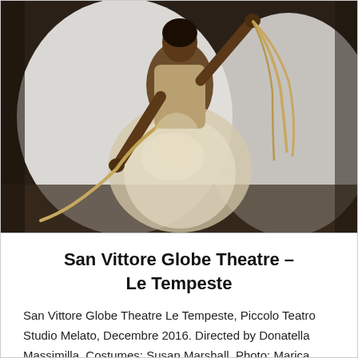[Figure (photo): A theatrical performance photo showing a performer in a white tulle/mesh costume holding ropes, with a large white circular backdrop, likely from a stage production of Le Tempeste.]
San Vittore Globe Theatre – Le Tempeste
San Vittore Globe Theatre Le Tempeste, Piccolo Teatro Studio Melato, Decembre 2016. Directed by Donatella Massimilla. Costumes: Susan Marshall. Photo: Marica Moretti